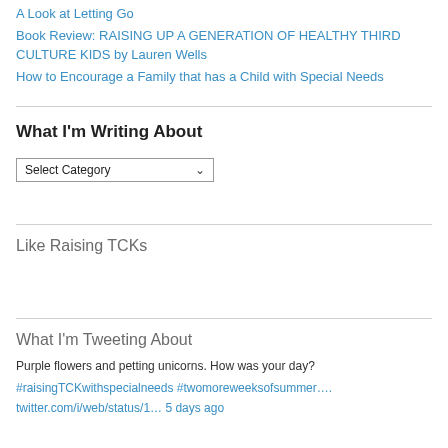A Look at Letting Go
Book Review: RAISING UP A GENERATION OF HEALTHY THIRD CULTURE KIDS by Lauren Wells
How to Encourage a Family that has a Child with Special Needs
What I'm Writing About
[Figure (screenshot): A dropdown select box with 'Select Category' text and a down arrow]
Like Raising TCKs
What I'm Tweeting About
Purple flowers and petting unicorns. How was your day?
#raisingTCKwithspecialneeds #twomoreweeksofsummer….
twitter.com/i/web/status/1… 5 days ago